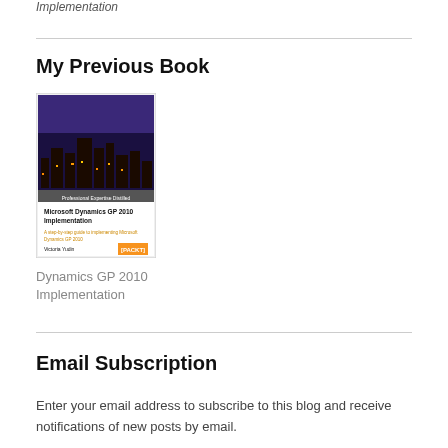Implementation
My Previous Book
[Figure (photo): Book cover of Microsoft Dynamics GP 2010 Implementation by Victoria Yudin, published by Packt Publishing. Cover shows a nighttime city skyline with purple clouds.]
Dynamics GP 2010 Implementation
Email Subscription
Enter your email address to subscribe to this blog and receive notifications of new posts by email.